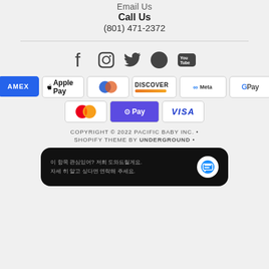Email Us
Call Us
(801) 471-2372
[Figure (infographic): Social media icons row: Facebook, Instagram, Twitter, Pinterest, YouTube]
[Figure (infographic): Payment method badges: AMEX, Apple Pay, Diners Club, Discover, Meta Pay, Google Pay, Mastercard, Shop Pay, Visa]
COPYRIGHT © 2022 PACIFIC BABY INC. •
SHOPIFY THEME BY UNDERGROUND •
[Figure (screenshot): Dark chat widget bubble with Korean text and chat icon]